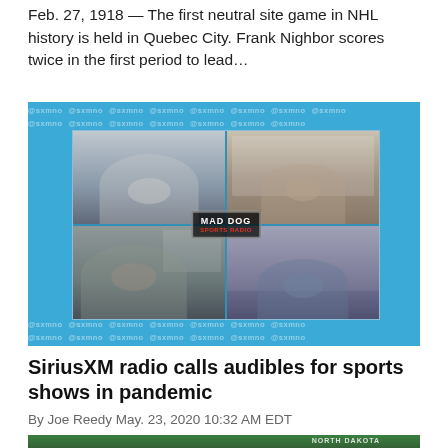Feb. 27, 1918 — The first neutral site game in NHL history is held in Quebec City. Frank Nighbor scores twice in the first period to lead…
[Figure (photo): Mad Dog Sports Radio video call screenshot showing four sports commentators in a 2x2 grid on a blue watermark background]
SiriusXM radio calls audibles for sports shows in pandemic
By Joe Reedy May. 23, 2020 10:32 AM EDT
[Figure (photo): Partial bottom image showing what appears to be a sports arena or stadium scene]